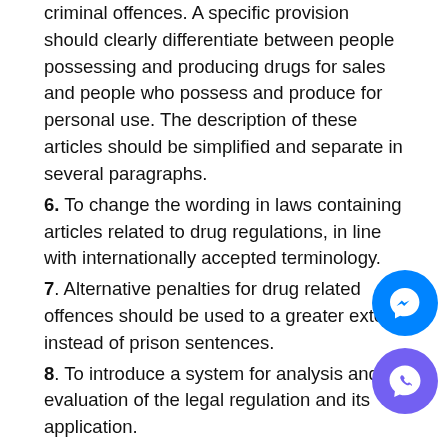criminal offences. A specific provision should clearly differentiate between people possessing and producing drugs for sales and people who possess and produce for personal use. The description of these articles should be simplified and separate in several paragraphs.
6. To change the wording in laws containing articles related to drug regulations, in line with internationally accepted terminology.
7. Alternative penalties for drug related offences should be used to a greater extent instead of prison sentences.
8. To introduce a system for analysis and evaluation of the legal regulation and its application.
9. In some towns, there is improvement in police practice and the relation of the Police towards drug users, but, on a national level, this is unsatisfactory and a change is needed.
10. The national drug policy should be based on pragmatism and respect of human rights. In that